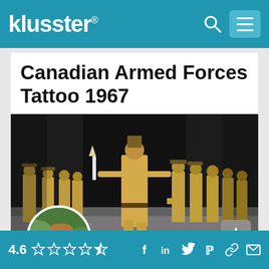klusster®
Canadian Armed Forces Tattoo 1967
[Figure (photo): Military parade photo showing soldiers in tan/khaki uniforms marching, with a drum major leading in the center foreground. Dark background wall visible. Black and white/muted color vintage footage still.]
[Figure (photo): Circular avatar portrait of a middle-aged man smiling, wearing a light blue shirt, with green foliage visible in background.]
4.6 ★★★★★☆  Social share icons: Facebook, LinkedIn, Twitter, Pinterest, Link, Email